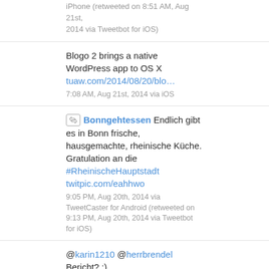iPhone (retweeted on 8:51 AM, Aug 21st, 2014 via Tweetbot for iOS)
Blogo 2 brings a native WordPress app to OS X tuaw.com/2014/08/20/blo…
7:08 AM, Aug 21st, 2014 via iOS
[retweet icon] Bonngehtessen Endlich gibt es in Bonn frische, hausgemachte, rheinische Küche. Gratulation an die #RheinischeHauptstadt twitpic.com/eahhwo
9:05 PM, Aug 20th, 2014 via TweetCaster for Android (retweeted on 9:13 PM, Aug 20th, 2014 via Tweetbot for iOS)
@karin1210 @herrbrendel Bericht? :)
8:56 PM, Aug 20th, 2014 via Tweetbot for iOS in reply to karin1210
[retweet icon] FAZ_Feuilleton Das Vorhaben war hochtrabend, die Ergebnisse sind dünn, wichtige Fragen ohne Antwort: